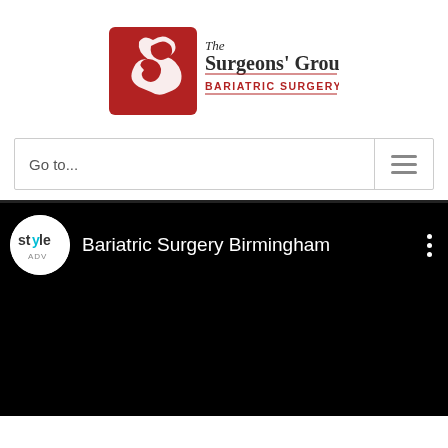[Figure (logo): The Surgeons' Group, P.C. - Bariatric Surgery Birmingham logo with red stylized figure icon on left and text on right]
Go to...
[Figure (screenshot): YouTube video player showing 'Bariatric Surgery Birmingham' channel with style ADV icon, black video area, and three-dot menu button]